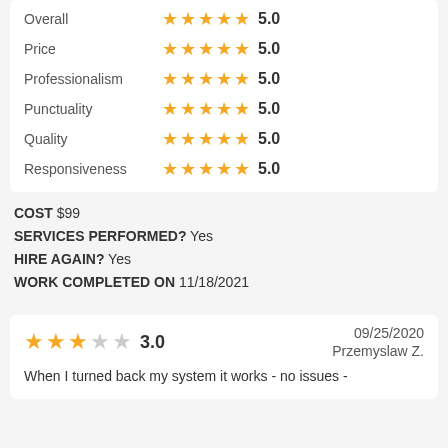| Category | Rating | Score |
| --- | --- | --- |
| Overall | ★★★★★ | 5.0 |
| Price | ★★★★★ | 5.0 |
| Professionalism | ★★★★★ | 5.0 |
| Punctuality | ★★★★★ | 5.0 |
| Quality | ★★★★★ | 5.0 |
| Responsiveness | ★★★★★ | 5.0 |
COST $99
SERVICES PERFORMED? Yes
HIRE AGAIN? Yes
WORK COMPLETED ON 11/18/2021
3.0   09/25/2020   Przemyslaw Z.
When I turned back my system it works - no issues -